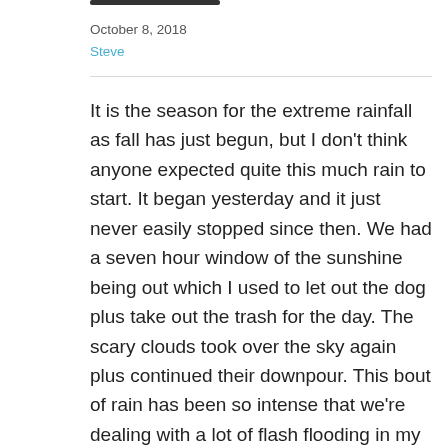October 8, 2018
Steve
It is the season for the extreme rainfall as fall has just begun, but I don't think anyone expected quite this much rain to start. It began yesterday and it just never easily stopped since then. We had a seven hour window of the sunshine being out which I used to let out the dog plus take out the trash for the day. The scary clouds took over the sky again plus continued their downpour. This bout of rain has been so intense that we're dealing with a lot of flash flooding in my area. I've only moved here one year ago, and I had no idea that my house was even facing possible damage. That is until I went downstairs to begin a load of laundry, only to find